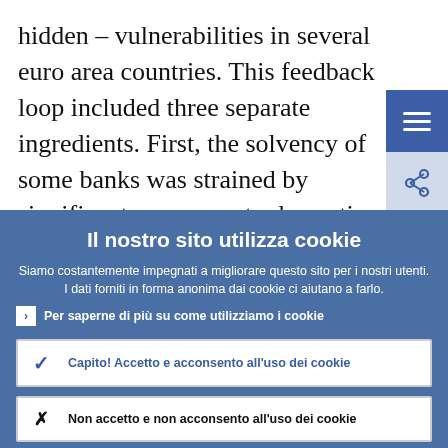hidden – vulnerabilities in several euro area countries. This feedback loop included three separate ingredients. First, the solvency of some banks was strained by significant exposures to domestic sovereign
Il nostro sito utilizza cookie
Siamo costantemente impegnati a migliorare questo sito per i nostri utenti. I dati forniti in forma anonima dai cookie ci aiutano a farlo.
Per saperne di più su come utilizziamo i cookie
Capito! Accetto e acconsento all'uso dei cookie
Non accetto e non acconsento all'uso dei cookie